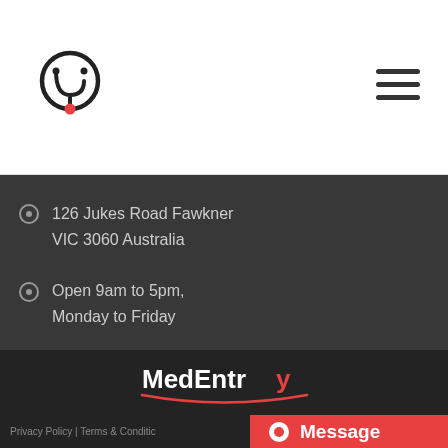[Figure (logo): MedEntry logo: circular stethoscope icon with red dot at bottom]
[Figure (other): Hamburger menu icon with three horizontal lines]
126 Jukes Road Fawkner VIC 3060 Australia
Open 9am to 5pm, Monday to Friday
[Figure (logo): MedEntry logo text with stethoscope underline in red]
[Figure (other): Social media icons: Facebook, Instagram, YouTube]
Privacy Policy | Terms & Conditions
Message